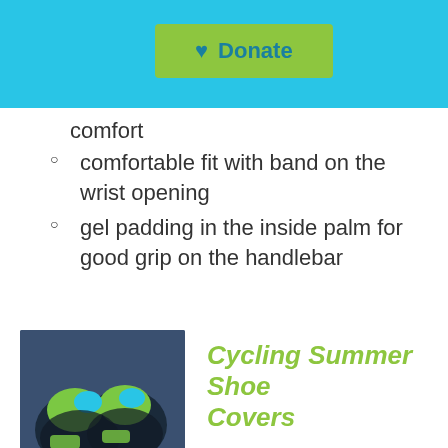Donate
comfort
comfortable fit with band on the wrist opening
gel padding in the inside palm for good grip on the handlebar
[Figure (photo): Photo of cycling summer shoe covers, black with green and blue accents]
Cycling Summer Shoe Covers
€25.00